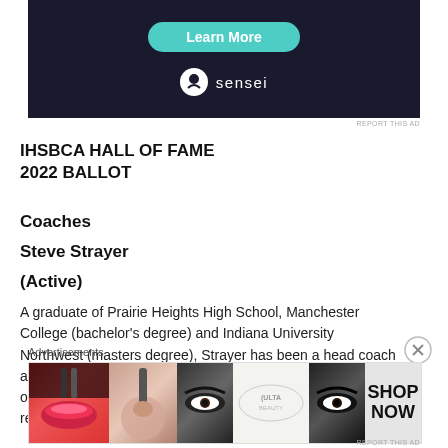[Figure (screenshot): Dark navy advertisement banner with a teal 'Learn More' button and 'sensei' branding with tree icon logo]
IHSBCA HALL OF FAME
2022 BALLOT
Coaches
Steve Strayer
(Active)
A graduate of Prairie Heights High School, Manchester College (bachelor's degree) and Indiana University Northwest (masters degree), Strayer has been a head coach at Boone Grove and Crown Point (current) and has a record of 641-238 with 15 conference. 14 sectional and nine regional titles.
Advertisements
[Figure (photo): Ulta Beauty advertisement showing cosmetics imagery with 'SHOP NOW' text]